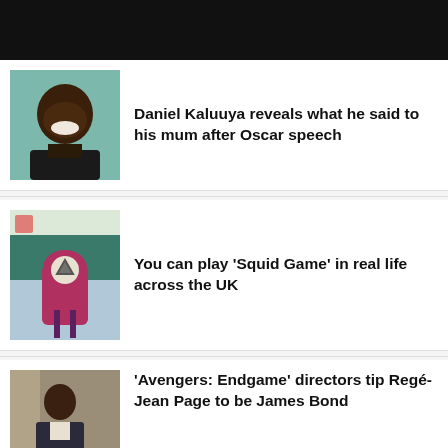[Figure (photo): Black header/navigation bar at top of page]
[Figure (photo): Photo of Daniel Kaluuya smiling against a teal background]
Daniel Kaluuya reveals what he said to his mum after Oscar speech
[Figure (photo): Scene from Squid Game showing a masked guard in pink suit with triangle symbol, with rows of contestants in teal tracksuits behind]
You can play ‘Squid Game’ in real life across the UK
[Figure (photo): Photo of Regé-Jean Page in period costume]
‘Avengers: Endgame’ directors tip Regé-Jean Page to be James Bond